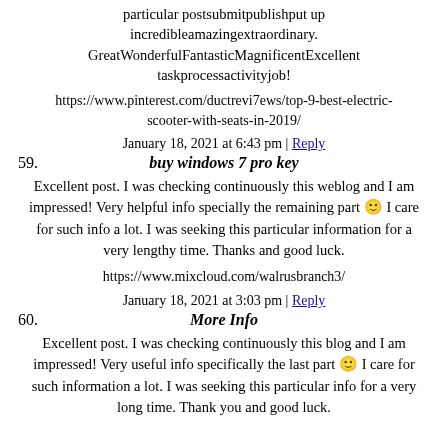particular postsubmitpublishput up incredibleamazingextraordinary. GreatWonderfulFantasticMagnificentExcellent taskprocessactivityjob!
https://www.pinterest.com/ductrevi7ews/top-9-best-electric-scooter-with-seats-in-2019/
January 18, 2021 at 6:43 pm | Reply
59. buy windows 7 pro key
Excellent post. I was checking continuously this weblog and I am impressed! Very helpful info specially the remaining part 🙂 I care for such info a lot. I was seeking this particular information for a very lengthy time. Thanks and good luck.
https://www.mixcloud.com/walrusbranch3/
January 18, 2021 at 3:03 pm | Reply
60. More Info
Excellent post. I was checking continuously this blog and I am impressed! Very useful info specifically the last part 🙂 I care for such information a lot. I was seeking this particular info for a very long time. Thank you and good luck.